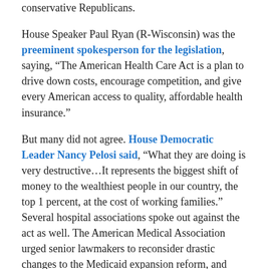conservative Republicans.
House Speaker Paul Ryan (R-Wisconsin) was the preeminent spokesperson for the legislation, saying, “The American Health Care Act is a plan to drive down costs, encourage competition, and give every American access to quality, affordable health insurance.”
But many did not agree. House Democratic Leader Nancy Pelosi said, “What they are doing is very destructive…It represents the biggest shift of money to the wealthiest people in our country, the top 1 percent, at the cost of working families.” Several hospital associations spoke out against the act as well. The American Medical Association urged senior lawmakers to reconsider drastic changes to the Medicaid expansion reform, and many others – including the American Hospital Association, America’s Essential Hospitals, and Catholic Health Association of the United States – expressed concerns about instabilities for people seeking affordable medical coverage.